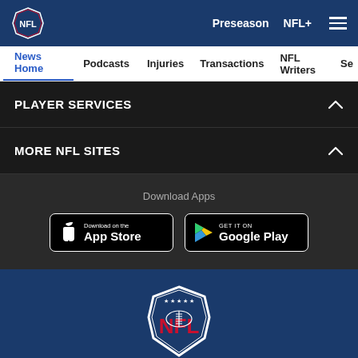NFL | Preseason | NFL+
News Home | Podcasts | Injuries | Transactions | NFL Writers | Se
PLAYER SERVICES
MORE NFL SITES
Download Apps
[Figure (screenshot): Download on the App Store badge]
[Figure (screenshot): GET IT ON Google Play badge]
[Figure (logo): NFL shield logo in white and red on dark blue background]
© 2022 NFL Enterprises LLC. NFL and the NFL shield design are
[Figure (infographic): Social media icons: Facebook, Twitter, Email, Link]